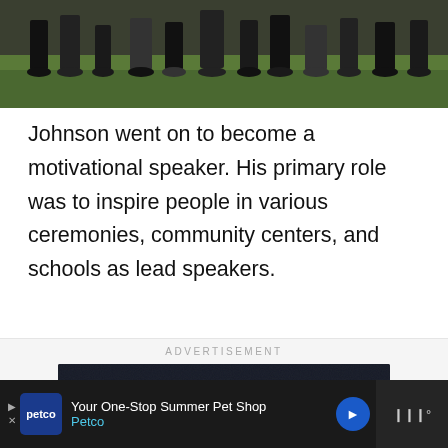[Figure (photo): Sports photo showing players on a field, close-up of legs and feet on grass]
Johnson went on to become a motivational speaker. His primary role was to inspire people in various ceremonies, community centers, and schools as lead speakers.
[Figure (infographic): Advertisement banner reading 'SHE CAN STEM' in white bold text on dark navy background]
[Figure (infographic): Bottom advertisement bar: Petco - Your One-Stop Summer Pet Shop with navigation arrow and weather icon]